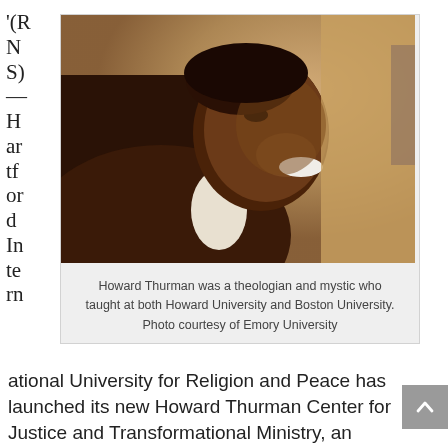'(RNS) — Hartford International University for Religion and Peace has launched its new Howard Thurman Center for Justice and Transformational Ministry, an expansion of its longtime Black Ministries Program, named for the 20th-century theologian and mystic
[Figure (photo): Portrait photo of Howard Thurman, a smiling elderly Black man in profile view, wearing a suit jacket, photographed indoors with warm background tones.]
Howard Thurman was a theologian and mystic who taught at both Howard University and Boston University. Photo courtesy of Emory University